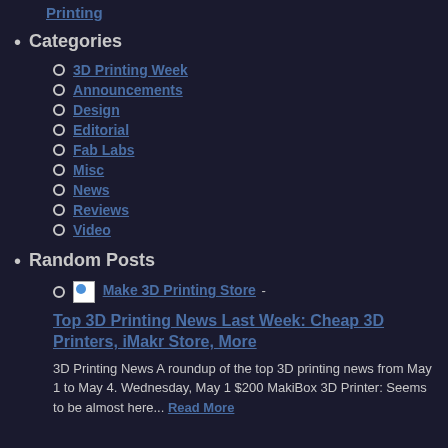Printing
Categories
3D Printing Week
Announcements
Design
Editorial
Fab Labs
Misc
News
Reviews
Video
Random Posts
Make 3D Printing Store - Top 3D Printing News Last Week: Cheap 3D Printers, iMakr Store, More
3D Printing News A roundup of the top 3D printing news from May 1 to May 4. Wednesday, May 1 $200 MakiBox 3D Printer: Seems to be almost here... Read More